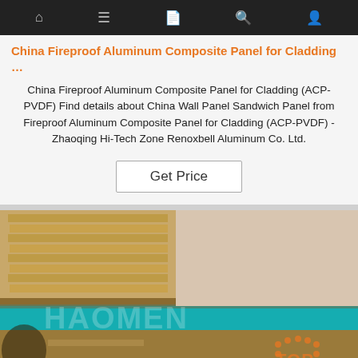Navigation bar with icons: home, menu, document, search, account
China Fireproof Aluminum Composite Panel for Cladding …
China Fireproof Aluminum Composite Panel for Cladding (ACP-PVDF) Find details about China Wall Panel Sandwich Panel from Fireproof Aluminum Composite Panel for Cladding (ACP-PVDF) - Zhaoqing Hi-Tech Zone Renoxbell Aluminum Co. Ltd.
[Figure (other): Get Price button]
[Figure (photo): Product photo showing aluminum composite panels being handled near a pool area, with HAOMEN TOP watermark overlay]